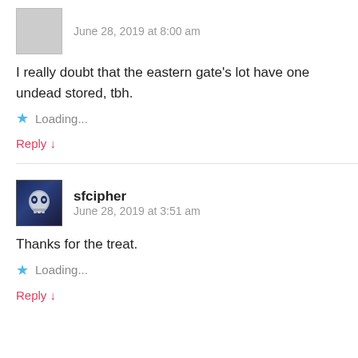June 28, 2019 at 8:00 am
I really doubt that the eastern gate's lot have one undead stored, tbh.
Loading...
Reply ↓
sfcipher
June 28, 2019 at 3:51 am
Thanks for the treat.
Loading...
Reply ↓